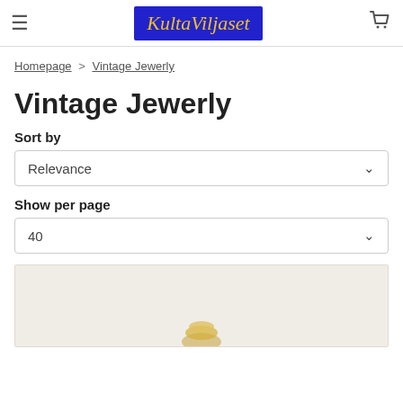KultaViljaset
Homepage > Vintage Jewerly
Vintage Jewerly
Sort by
Relevance
Show per page
40
[Figure (photo): Product image area with light beige/cream background, partially visible jewerly item at the bottom]